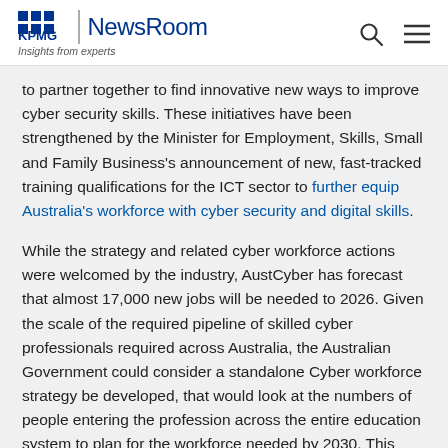KPMG | NewsRoom — Insights from experts
to partner together to find innovative new ways to improve cyber security skills. These initiatives have been strengthened by the Minister for Employment, Skills, Small and Family Business's announcement of new, fast-tracked training qualifications for the ICT sector to further equip Australia's workforce with cyber security and digital skills.
While the strategy and related cyber workforce actions were welcomed by the industry, AustCyber has forecast that almost 17,000 new jobs will be needed to 2026. Given the scale of the required pipeline of skilled cyber professionals required across Australia, the Australian Government could consider a standalone Cyber workforce strategy be developed, that would look at the numbers of people entering the profession across the entire education system to plan for the workforce needed by 2030. This also brings people to consider the COVID-19